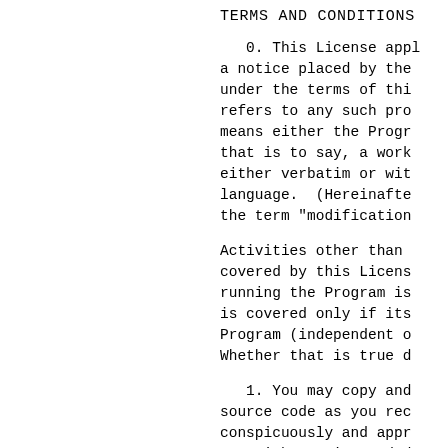TERMS AND CONDITIONS
0. This License applies to any program or other work which contains a notice placed by the copyright holder saying it may be distributed under the terms of this General Public License. The "Program" refers to any such program or work, and a "work based on the Program" means either the Program or any derivative work under copyright law: that is to say, a work containing the Program or a portion of it, either verbatim or with modifications and/or translated into another language. (Hereinafter, translation is included without limitation in the term "modification".)
Activities other than copying, distribution and modification are not covered by this License; they are outside its scope. The act of running the Program is not restricted, and the output from the Program is covered only if its contents constitute a work based on the Program (independent of having been made by running the Program). Whether that is true depends on what the Program does.
1. You may copy and distribute verbatim copies of the Program's source code as you receive it, in any medium, provided that you conspicuously and appropriately publish on each copy an appropriate copyright notice and disclaimer of warranty; keep intact all the notices that refer to this License and to the absence of any warranty; and give any other recipients of the Program a copy of this License along with the Program.
You may charge a fee